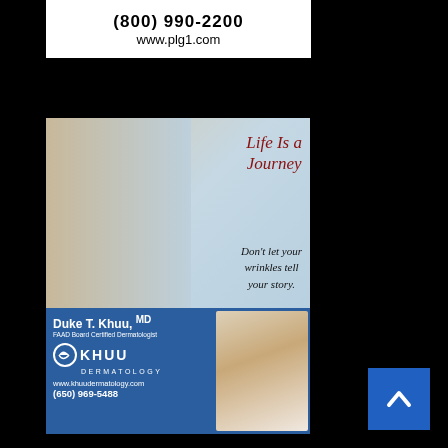[Figure (advertisement): Top advertisement banner with phone number (800) 990-2200 and website www.plg1.com on white background]
[Figure (advertisement): Khuu Dermatology advertisement featuring woman with water splash and text 'Life Is a Journey - Don't let your wrinkles tell your story.' Lower section shows Duke T. Khuu MD, FAAD Board Certified Dermatologist, Khuu Dermatology logo, www.khuudermatology.com, (650) 969-5488, and photo of doctor]
[Figure (photo): Advertisement showing a house with trees, partially visible at bottom of page]
[Figure (other): Blue scroll-to-top button with upward chevron arrow in bottom right corner]